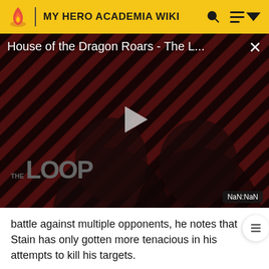MY HERO ACADEMIA WIKI
[Figure (screenshot): Video player showing 'House of the Dragon Roars - The L...' with a diagonal red and black striped background, two dark silhouetted figures, a white play button triangle in the center, 'THE LOOP' watermark text in the lower left, a close button (×) in the upper right, and a NaN:NaN timestamp badge in the lower right.]
battle against multiple opponents, he notes that Stain has only gotten more tenacious in his attempts to kill his targets.
Tenya intercepts one of Stain's throwing knives targeting Shoto, then asks his classmate to freeze his radiators